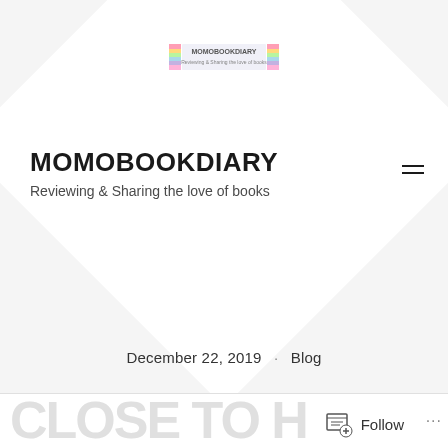[Figure (logo): MOMOBOOKDIARY rainbow-colored book blog logo with small text and colorful blocks]
MOMOBOOKDIARY
Reviewing & Sharing the love of books
December 22, 2019  ·  Blog
Follow  ...